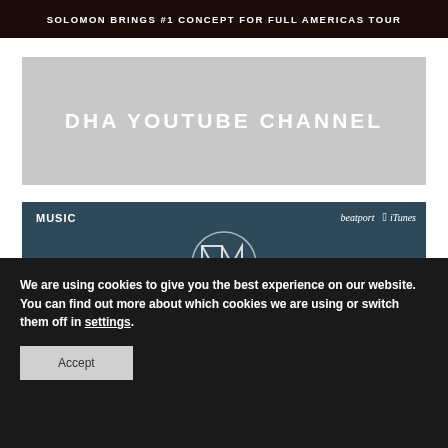[Figure (photo): Dark concert banner with text overlay: SOLOMON BRINGS #1 CONCEPT FOR FULL AMERICAS TOUR]
DHA YOUTUBE CHANNEL
[Figure (screenshot): Music section with dark blue background showing MUSIC label, beatport and iTunes links, and a circular logo with NIN-style lettering]
We are using cookies to give you the best experience on our website.
You can find out more about which cookies we are using or switch them off in settings.
Accept